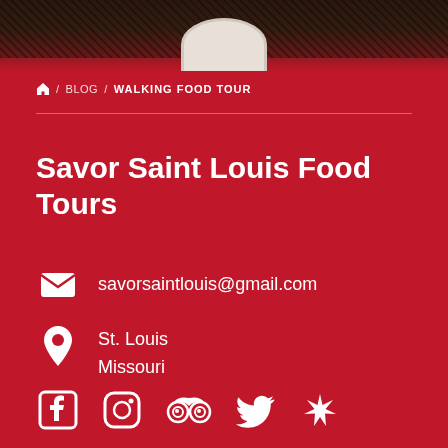[Figure (photo): Top portion showing dark marble/stone surface with partial white plate visible at bottom]
🏠 / BLOG / WALKING FOOD TOUR
Savor Saint Louis Food Tours
savorsaintlouis@gmail.com
St. Louis
Missouri
[Figure (infographic): Social media icons: Facebook, Instagram, TripAdvisor, Twitter, Yelp]